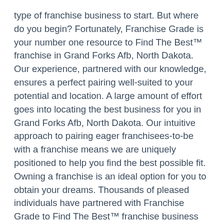type of franchise business to start. But where do you begin? Fortunately, Franchise Grade is your number one resource to Find The Best™ franchise in Grand Forks Afb, North Dakota. Our experience, partnered with our knowledge, ensures a perfect pairing well-suited to your potential and location. A large amount of effort goes into locating the best business for you in Grand Forks Afb, North Dakota. Our intuitive approach to pairing eager franchisees-to-be with a franchise means we are uniquely positioned to help you find the best possible fit.
Owning a franchise is an ideal option for you to obtain your dreams. Thousands of pleased individuals have partnered with Franchise Grade to Find The Best™ franchise business and grow it into financial success. When you partner with Franchise Grade, we help you identify what type of franchise to start in Grand Forks Afb, North Dakota. Our team takes the time to understand which avenues you